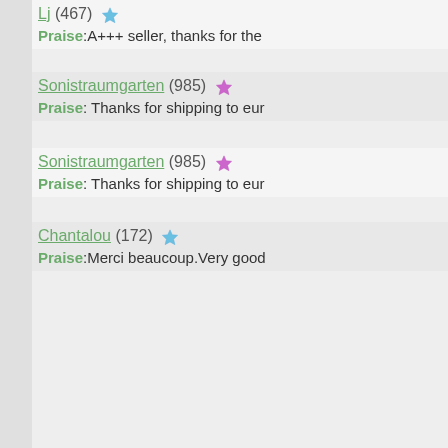Lj (467) ★ Praise:A+++ seller, thanks for the
Sonistraumgarten (985) ★ Praise: Thanks for shipping to eur
Sonistraumgarten (985) ★ Praise: Thanks for shipping to eur
Chantalou (172) ★ Praise:Merci beaucoup.Very good
1 2 3 4 5 6 7 8 … 37 38 39 40 41 4… 70 71 72 73 74 7… 102 103 104 105… 126 127 128 129… 150 151 152 153… 174 175 176 177… 198 199 200 20… 221 222 223 224… 245 246 247 248… 269 270 271 272…